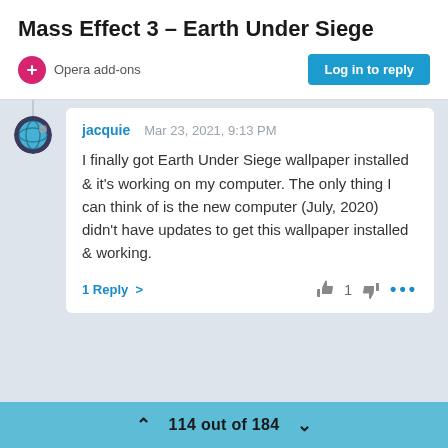Mass Effect 3 – Earth Under Siege
Opera add-ons | Log in to reply
jacquie  Mar 23, 2021, 9:13 PM

I finally got Earth Under Siege wallpaper installed & it's working on my computer. The only thing I can think of is the new computer (July, 2020) didn't have updates to get this wallpaper installed & working.
1 Reply >   👍 1 👎 ...
⌃  114 out of 184  ⌄